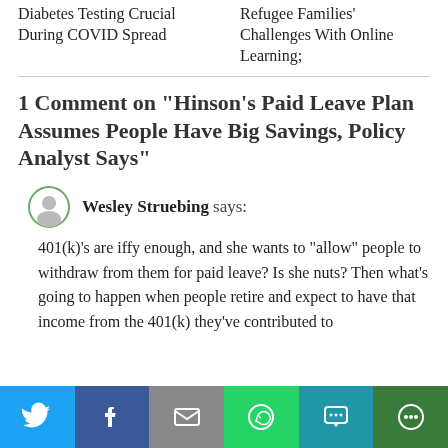Diabetes Testing Crucial During COVID Spread
Refugee Families' Challenges With Online Learning;
1 Comment on "Hinson's Paid Leave Plan Assumes People Have Big Savings, Policy Analyst Says"
Wesley Struebing says:
401(k)’s are iffy enough, and she wants to “allow” people to withdraw from them for paid leave? Is she nuts? Then what’s going to happen when people retire and expect to have that income from the 401(k) they’ve contributed to
[Figure (other): Social share bar with Twitter, Facebook, Email, WhatsApp, SMS, and More buttons]